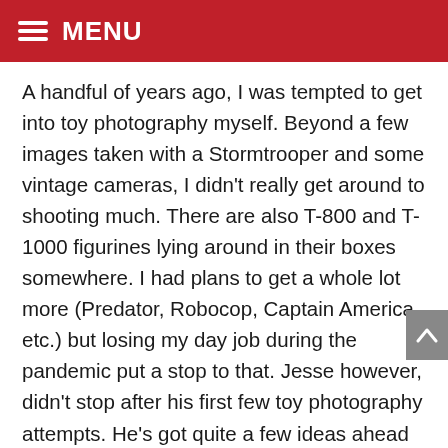MENU
A handful of years ago, I was tempted to get into toy photography myself. Beyond a few images taken with a Stormtrooper and some vintage cameras, I didn't really get around to shooting much. There are also T-800 and T-1000 figurines lying around in their boxes somewhere. I had plans to get a whole lot more (Predator, Robocop, Captain America, etc.) but losing my day job during the pandemic put a stop to that. Jesse however, didn't stop after his first few toy photography attempts. He's got quite a few ideas ahead for his cinematic toy photography, and in this interview with The Phoblographer, he shares his story.
The Essential Gear used by